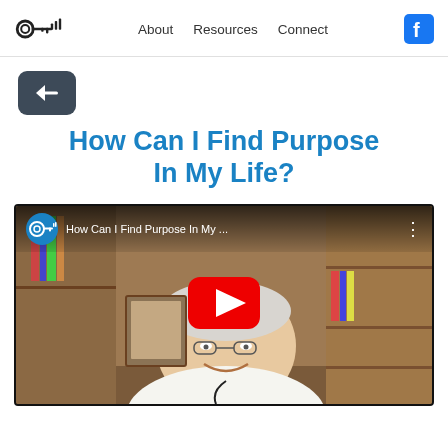About   Resources   Connect
[Figure (logo): Key with signal bars logo icon]
[Figure (screenshot): YouTube video thumbnail showing an elderly man smiling in front of a bookshelf, with YouTube play button overlay and title 'How Can I Find Purpose In My ...']
How Can I Find Purpose In My Life?